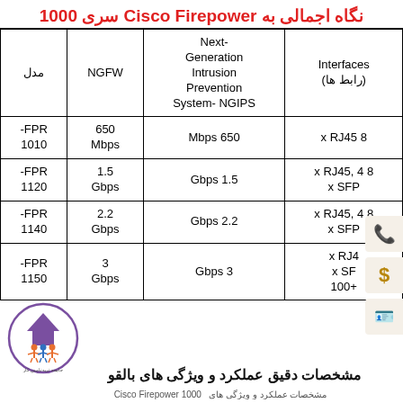نگاه اجمالی به Cisco Firepower سری 1000
| مدل | NGFW | Next-Generation Intrusion Prevention System- NGIPS | Interfaces (رابط ها) |
| --- | --- | --- | --- |
| FPR-1010 | 650 Mbps | Mbps 650 | x RJ45 8 |
| FPR-1120 | 1.5 Gbps | Gbps 1.5 | x RJ45, 4 8
x SFP |
| FPR-1140 | 2.2 Gbps | Gbps 2.2 | x RJ45, 4 8
x SFP |
| FPR-1150 | 3 Gbps | Gbps 3 | x RJ4...
x SF...
+100... |
مشخصات دقیق عملکرد و ویژگی های بالقو...
مشخصات عملکرد و ویژگی های Cisco Firepower 1000